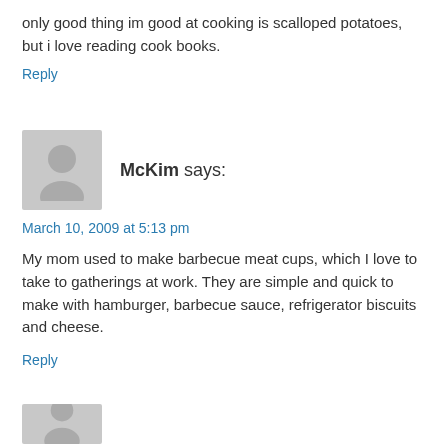only good thing im good at cooking is scalloped potatoes, but i love reading cook books.
Reply
[Figure (illustration): Gray placeholder avatar silhouette icon]
McKim says:
March 10, 2009 at 5:13 pm
My mom used to make barbecue meat cups, which I love to take to gatherings at work. They are simple and quick to make with hamburger, barbecue sauce, refrigerator biscuits and cheese.
Reply
[Figure (illustration): Partial gray placeholder avatar silhouette icon at bottom]